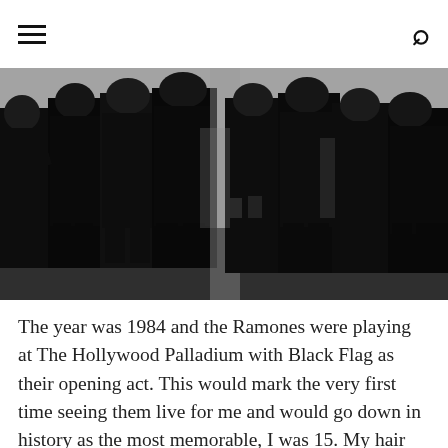≡  🔍
[Figure (photo): Black and white photograph of a row of police officers in uniform, shot from a low angle. The officers appear to be in formation, wearing dark uniforms and helmets or caps, carrying equipment. The image has high contrast black and white tones.]
The year was 1984 and the Ramones were playing at The Hollywood Palladium with Black Flag as their opening act. This would mark the very first time seeing them live for me and would go down in history as the most memorable, I was 15. My hair was short spiky platinum white and I wore a short black vintage dress, tied together with some fishnets and classic pointed black leather boots with fur straps. Even though my look was of a classic young punk for the day, I felt a little